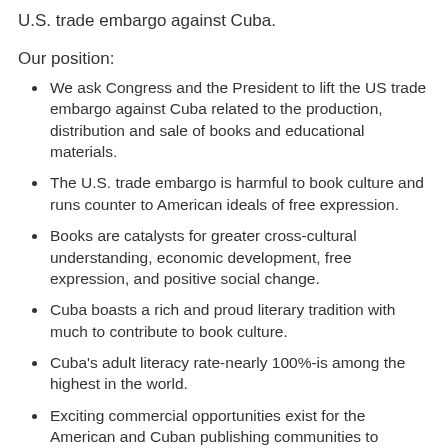U.S. trade embargo against Cuba.
Our position:
We ask Congress and the President to lift the US trade embargo against Cuba related to the production, distribution and sale of books and educational materials.
The U.S. trade embargo is harmful to book culture and runs counter to American ideals of free expression.
Books are catalysts for greater cross-cultural understanding, economic development, free expression, and positive social change.
Cuba boasts a rich and proud literary tradition with much to contribute to book culture.
Cuba's adult literacy rate-nearly 100%-is among the highest in the world.
Exciting commercial opportunities exist for the American and Cuban publishing communities to collaborate for the benefit of readers everywhere.